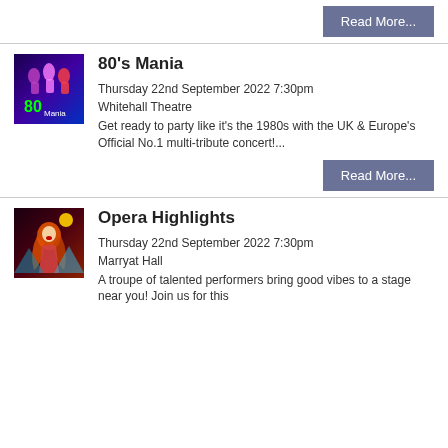Read More...
[Figure (illustration): 80's Mania show poster with performers in 80s style clothing against a purple/blue background with the text '80s Mania']
80's Mania
Thursday 22nd September 2022 7:30pm
Whitehall Theatre
Get ready to party like it's the 1980s with the UK & Europe's Official No.1 multi-tribute concert!...
Read More...
[Figure (illustration): Opera Highlights show poster with a stylised woman with long red/orange hair on a dark red and brown background]
Opera Highlights
Thursday 22nd September 2022 7:30pm
Marryat Hall
A troupe of talented performers bring good vibes to a stage near you! Join us for this